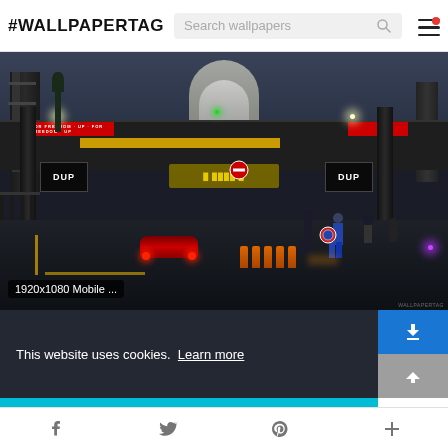#WALLPAPERTAG
[Figure (screenshot): A dark, night-time video game scene showing a militarized urban checkpoint with 'DUP' signs, overhead gantries with red and yellow warning signs, a red car approaching the barrier, orange barrier blocks, soldiers and crowds, and dramatic lighting. Bottom-left overlay reads '1920x1080 Mobile ...']
1920x1080 Mobile ...
This website uses cookies.  Learn more
Got it!